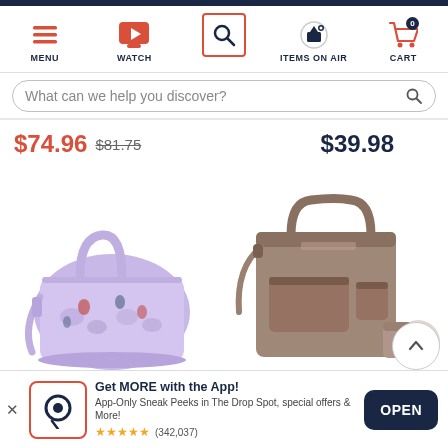MENU | WATCH | SEARCH | ITEMS ON AIR | CART
What can we help you discover?
$74.96  $81.75   $39.98
[Figure (photo): Purple/lavender floral patterned tote bag with shoulder strap]
[Figure (photo): Tan/taupe Baggallini multi-pocket tote bag with accessories]
Get MORE with the App! App-Only Sneak Peeks in The Drop Spot, special offers & More! ★★★★★ (342,037)